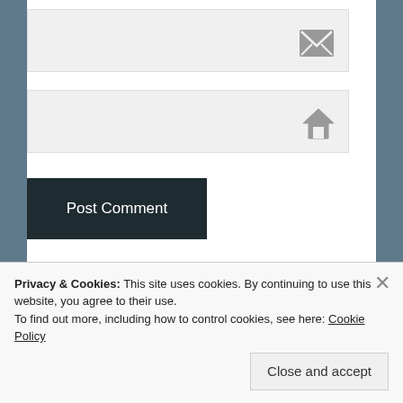[Figure (screenshot): Email input field with envelope icon on the right]
[Figure (screenshot): URL input field with house/home icon on the right]
Post Comment
Notify me of new comments via email.
Notify me of new posts via email.
Privacy & Cookies: This site uses cookies. By continuing to use this website, you agree to their use.
To find out more, including how to control cookies, see here: Cookie Policy
Close and accept